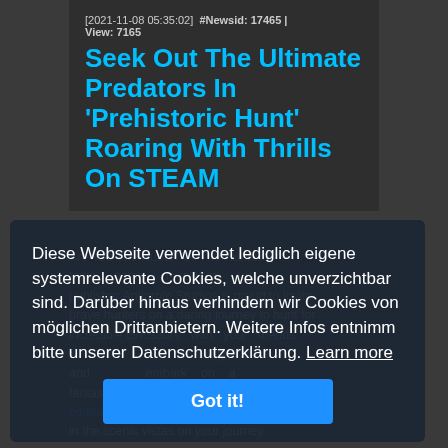[2021-11-08 05:35:02]  #Newsid: 17465 | View: 7165
Seek Out The Ultimate Predators In 'Prehistoric Hunt' Roaring With Thrills On STEAM
Are You The Hunter Or The Hunted? Indie game developer and publisher Antiproto Studios is proud to invite brave hunters on a daring journey to hunt for incredible dinosaurs with your friends Early Access and embark on a fantastic adventure completing hunting contracts for the Preton Corporation and take in the scenic vistas on your journey.
Diese Webseite verwendet lediglich eigene systemrelevante Cookies, welche unverzichtbar sind. Darüber hinaus verhindern wir Cookies von möglichen Drittanbietern. Weitere Infos entnimm bitte unserer Datenschutzerklärung. Learn more
Got it!